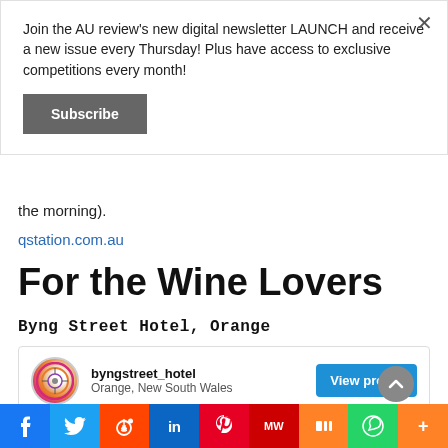Join the AU review's new digital newsletter LAUNCH and receive a new issue every Thursday! Plus have access to exclusive competitions every month!
Subscribe
the morning).
qstation.com.au
For the Wine Lovers
Byng Street Hotel, Orange
[Figure (infographic): Instagram profile card for byngstreet_hotel with avatar, handle, location Orange New South Wales, and View profile button]
byngstreet_hotel
Orange, New South Wales
View profile
f  Twitter  Reddit  in  Pinterest  MW  Mix  WhatsApp  More